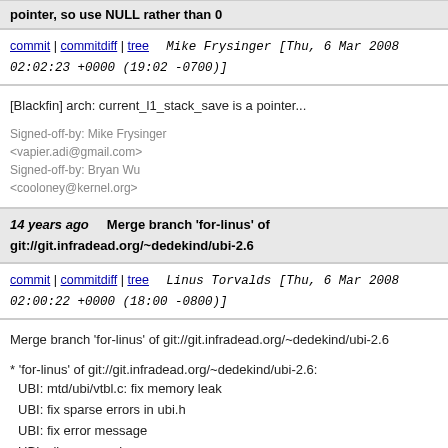pointer, so use NULL rather than 0
commit | commitdiff | tree   Mike Frysinger [Thu, 6 Mar 2008 02:02:23 +0000 (19:02 -0700)]
[Blackfin] arch: current_l1_stack_save is a pointer

Signed-off-by: Mike Frysinger <vapier.adi@gmail.com>
Signed-off-by: Bryan Wu <cooloney@kernel.org>
14 years ago   Merge branch 'for-linus' of git://git.infradead.org/~dedekind/ubi-2.6
commit | commitdiff | tree   Linus Torvalds [Thu, 6 Mar 2008 02:00:22 +0000 (18:00 -0800)]
Merge branch 'for-linus' of git://git.infradead.org/~dedekind/ubi-2.6

* 'for-linus' of git://git.infradead.org/~dedekind/ubi-2.6:
  UBI: mtd/ubi/vtbl.c: fix memory leak
  UBI: fix sparse errors in ubi.h
  UBI: fix error message
  UBI: silence warning